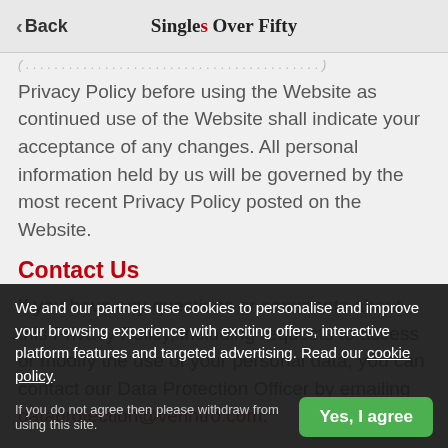< Back   Singles Over Fifty
Privacy Policy before using the Website as continued use of the Website shall indicate your acceptance of any changes. All personal information held by us will be governed by the most recent Privacy Policy posted on the Website.
Contact Us
If you have any questions or comments about this Privacy Policy, including requests to access or modify the use of your personal data, you can contact our Data Protection Officer by emailing dataprotection@venntro.com.
For other general queries, Venntro Media Group can be contacted by and our registered
We and our partners use cookies to personalise and improve your browsing experience with exciting offers, interactive platform features and targeted advertising. Read our cookie policy.
If you do not agree then please withdraw from using this site.
Terms · Customer Queries · Dating Safety Tips · Contact Me
© Copyright 2022